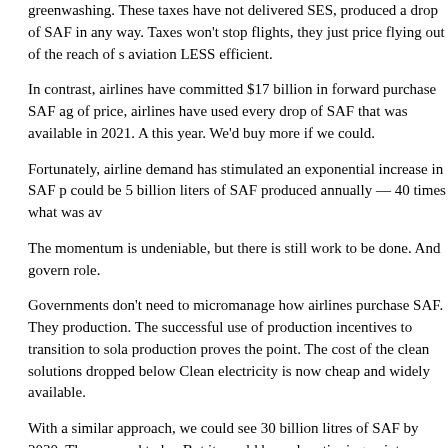greenwashing. These taxes have not delivered SES, produced a drop of SAF in any way. Taxes won't stop flights, they just price flying out of the reach of s aviation LESS efficient.
In contrast, airlines have committed $17 billion in forward purchase SAF agreements of price, airlines have used every drop of SAF that was available in 2021. And this year. We'd buy more if we could.
Fortunately, airline demand has stimulated an exponential increase in SAF production. could be 5 billion liters of SAF produced annually — 40 times what was available.
The momentum is undeniable, but there is still work to be done. And governments have a role.
Governments don't need to micromanage how airlines purchase SAF. They need to stimulate production. The successful use of production incentives to transition to solar and wind production proves the point. The cost of the clean solutions dropped below the dirty ones. Clean electricity is now cheap and widely available.
With a similar approach, we could see 30 billion litres of SAF by 2030. That's not where we need to be. But it would be a clear tipping point towards our net zero ambition to buy quantities at affordable prices.
Offsets are a smaller part of our ambition and bring their own unique challenges.
Longer term, as we move from stabilising emissions to a net zero focus, our attention will transition to a viable market that includes affordable and scalable nature-based solutions.